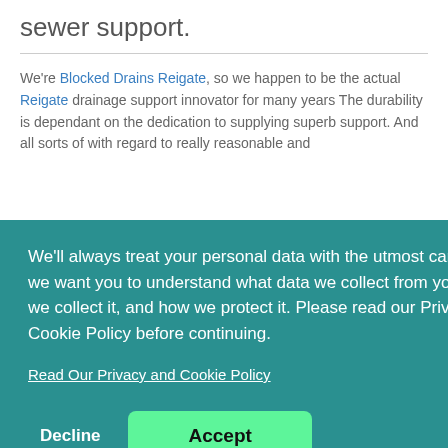sewer support.
We're Blocked Drains Reigate, so we happen to be the actual Reigate drainage support innovator for many years The durability is dependant on the dedication to supplying superb support. And all sorts of with regard to really reasonable and
We'll always treat your personal data with the utmost care, and we want you to understand what data we collect from you, why we collect it, and how we protect it. Please read our Privacy & Cookie Policy before continuing.
Read Our Privacy and Cookie Policy
Decline
Accept
Domestic Blocked Drains Caterham